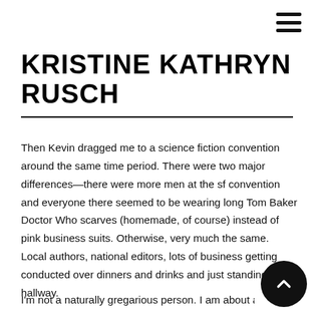☰ (menu icon)
KRISTINE KATHRYN RUSCH
Then Kevin dragged me to a science fiction convention around the same time period. There were two major differences—there were more men at the sf convention and everyone there seemed to be wearing long Tom Baker Doctor Who scarves (homemade, of course) instead of pink business suits. Otherwise, very much the same. Local authors, national editors, lots of business getting conducted over dinners and drinks and just standing in the hallway.
I'm not a naturally gregarious person. I am about as introvert…